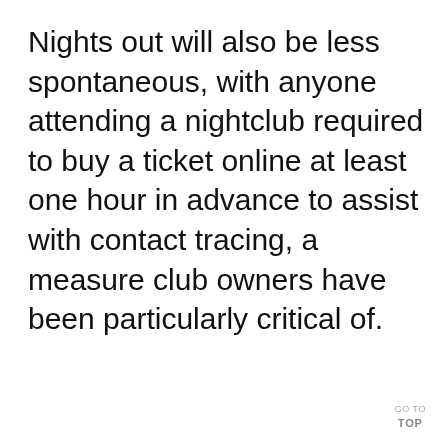Nights out will also be less spontaneous, with anyone attending a nightclub required to buy a ticket online at least one hour in advance to assist with contact tracing, a measure club owners have been particularly critical of.
GO TO TOP